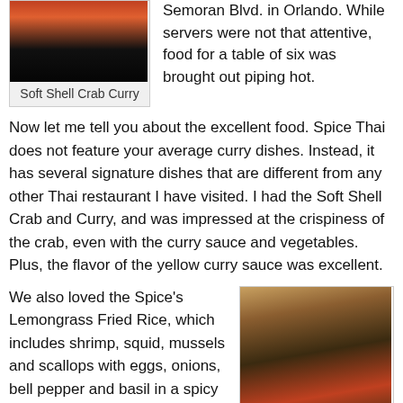[Figure (photo): Photo of Soft Shell Crab Curry dish on a white plate, dark background]
Soft Shell Crab Curry
Semoran Blvd. in Orlando. While servers were not that attentive, food for a table of six was brought out piping hot.
Now let me tell you about the excellent food. Spice Thai does not feature your average curry dishes. Instead, it has several signature dishes that are different from any other Thai restaurant I have visited. I had the Soft Shell Crab and Curry, and was impressed at the crispiness of the crab, even with the curry sauce and vegetables. Plus, the flavor of the yellow curry sauce was excellent.
We also loved the Spice's Lemongrass Fried Rice, which includes shrimp, squid, mussels and scallops with eggs, onions, bell pepper and basil in a spicy house sauce. Mmm...we savored every bite. We were also impressed by the Tiger's Tear Steak, which was brought out on a steaming hot plate, which
[Figure (photo): Photo of Tiger's Tear Steak on a hot sizzling plate with vegetables and herbs, served with white rice on the side]